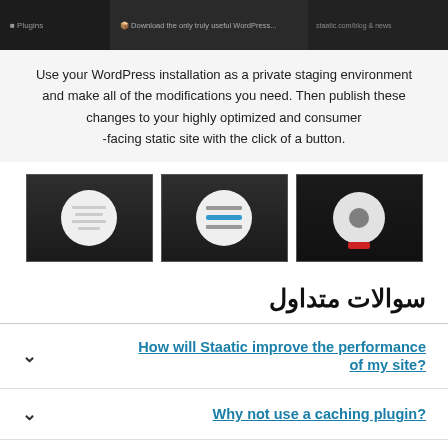[Figure (screenshot): Dark-themed browser/app screenshot header bar with dark panels]
Use your WordPress installation as a private staging environment and make all of the modifications you need. Then publish these changes to your highly optimized and consumer-facing static site with the click of a button.
[Figure (screenshot): Three thumbnail screenshots showing WordPress/Staatic plugin interface steps]
سوالات متداول
How will Staatic improve the performance of my site?
Why not use a caching plugin?
Will the appearance of my site change?